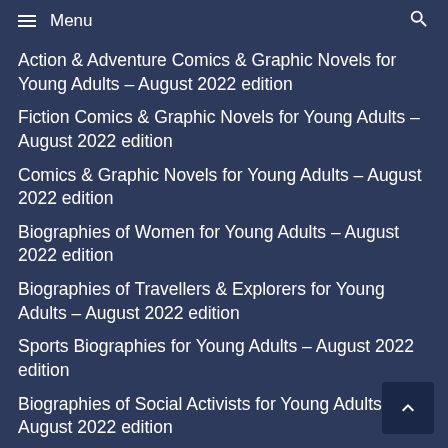≡ Menu
Action & Adventure Comics & Graphic Novels for Young Adults – August 2022 edition
Fiction Comics & Graphic Novels for Young Adults – August 2022 edition
Comics & Graphic Novels for Young Adults – August 2022 edition
Biographies of Women for Young Adults – August 2022 edition
Biographies of Travellers & Explorers for Young Adults – August 2022 edition
Sports Biographies for Young Adults – August 2022 edition
Biographies of Social Activists for Young Adults – August 2022 edition